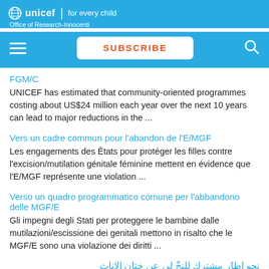unicef | for every child
Office of Research-Innocenti
[Figure (screenshot): Navigation bar with hamburger menu, SUBSCRIBE button, and search icon on blue background]
FGM/C
UNICEF has estimated that community-oriented programmes costing about US$24 million each year over the next 10 years can lead to major reductions in the ...
Vers un cadre commun pour l’abandon de l’E/MGF
Les engagements des États pour protéger les filles contre l’excision/mutilation génitale féminine mettent en évidence que l’E/MGF représente une violation ...
Verso un quadro programmatico comune per l’abbandono delle MGF/E
Gli impegni degli Stati per proteggere le bambine dalle mutilazioni/escissione dei genitali mettono in risalto che le MGF/E sono una violazione dei diritti ...
نحو إطار مشترك للنخّ لي عن ختان الإناث